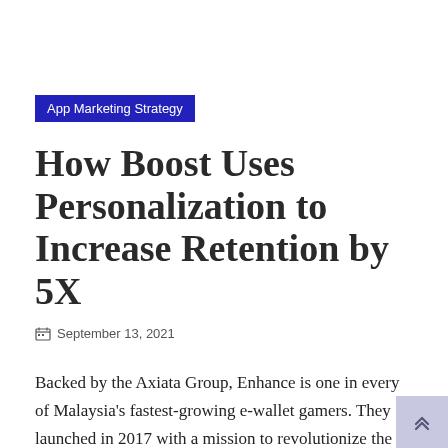App Marketing Strategy
How Boost Uses Personalization to Increase Retention by 5X
September 13, 2021
Backed by the Axiata Group, Enhance is one in every of Malaysia's fastest-growing e-wallet gamers. They launched in 2017 with a mission to revolutionize the best way